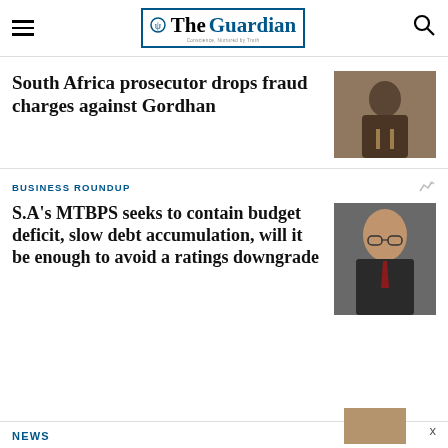The Guardian
South Africa prosecutor drops fraud charges against Gordhan
[Figure (photo): Person speaking at a podium or microphone, appears to be in a parliamentary or official setting]
BUSINESS ROUNDUP
S.A's MTBPS seeks to contain budget deficit, slow debt accumulation, will it be enough to avoid a ratings downgrade
[Figure (photo): Portrait of a man in glasses wearing a dark suit and red tie]
NEWS
[Figure (photo): Partially visible image in bottom right corner]